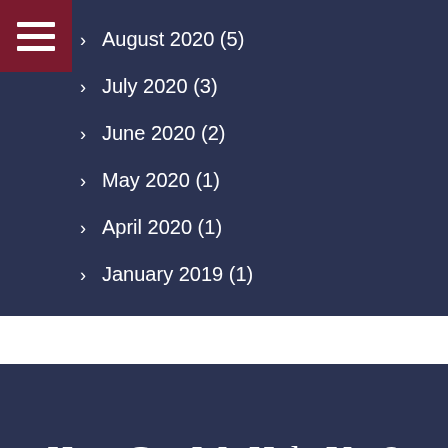August 2020 (5)
July 2020 (3)
June 2020 (2)
May 2020 (1)
April 2020 (1)
January 2019 (1)
How Can We Help You?